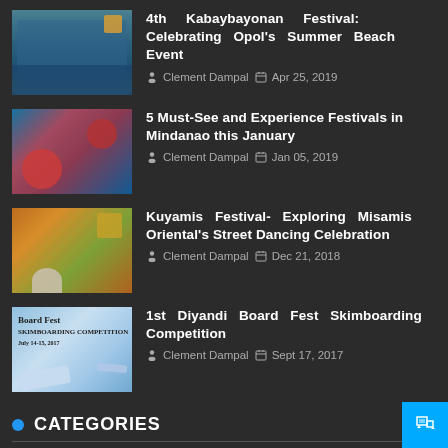4th Kabaybayonan Festival: Celebrating Opol's Summer Beach Event
5 Must-See and Experience Festivals in Mindanao this January
Kuyamis Festival- Exploring Misamis Oriental's Street Dancing Celebration
1st Diyandi Board Fest Skimboarding Competition
CATEGORIES